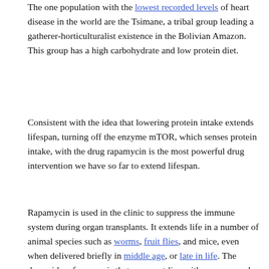The one population with the lowest recorded levels of heart disease in the world are the Tsimane, a tribal group leading a gatherer-horticulturalist existence in the Bolivian Amazon. This group has a high carbohydrate and low protein diet.
Consistent with the idea that lowering protein intake extends lifespan, turning off the enzyme mTOR, which senses protein intake, with the drug rapamycin is the most powerful drug intervention we have so far to extend lifespan.
Rapamycin is used in the clinic to suppress the immune system during organ transplants. It extends life in a number of animal species such as worms, fruit flies, and mice, even when delivered briefly in middle age, or late in life. The downside, of course, is that one must live with a suppressed immune system, which is a bit of a drag if you're not living in a sterile lab environment.